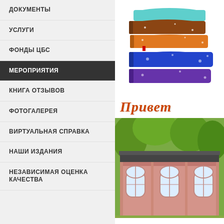ДОКУМЕНТЫ
УСЛУГИ
ФОНДЫ ЦБС
МЕРОПРИЯТИЯ
КНИГА ОТЗЫВОВ
ФОТОГАЛЕРЕЯ
ВИРТУАЛЬНАЯ СПРАВКА
НАШИ ИЗДАНИЯ
НЕЗАВИСИМАЯ ОЦЕНКА КАЧЕСТВА
[Figure (illustration): Stack of colorful books illustration]
Привет
[Figure (photo): Exterior photo of a pink/salmon colored historic library building with arched windows and green trees]